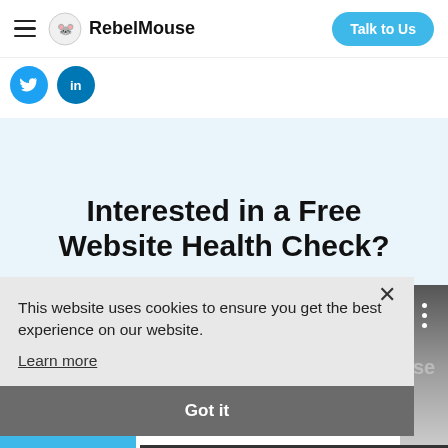RebelMouse - Talk to Us
[Figure (screenshot): Twitter and LinkedIn social share icons]
Interested in a Free Website Health Check?
This website uses cookies to ensure you get the best experience on our website.
Learn more
Got it